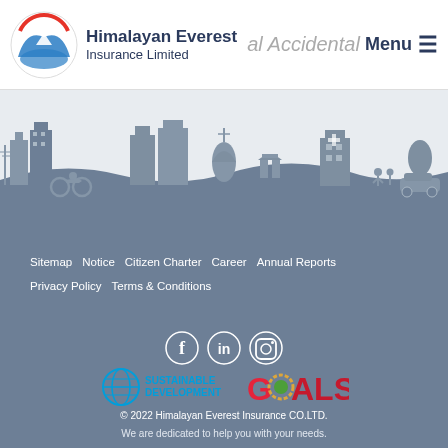[Figure (logo): Himalayan Everest Insurance Limited logo with mountain and circular emblem]
Himalayan Everest Insurance Limited | Personal Accidental Insurance | Menu
[Figure (illustration): Nepal cityscape silhouette with landmarks including pagodas, buildings, motorbike, car, and pedestrians on a grey-blue background]
Sitemap
Notice
Citizen Charter
Career
Annual Reports
Privacy Policy
Terms & Conditions
[Figure (logo): Social media icons: Facebook, LinkedIn, Instagram]
[Figure (logo): UN Sustainable Development Goals logo with colorful wheel and text SUSTAINABLE DEVELOPMENT GOALS]
© 2022 Himalayan Everest Insurance CO.LTD.
We are dedicated to help you with your needs.